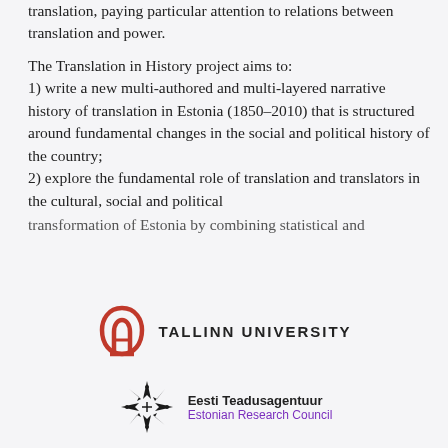translation, paying particular attention to relations between translation and power.
The Translation in History project aims to:
1) write a new multi-authored and multi-layered narrative history of translation in Estonia (1850–2010) that is structured around fundamental changes in the social and political history of the country;
2) explore the fundamental role of translation and translators in the cultural, social and political transformation of Estonia by combining statistical and
[Figure (logo): Tallinn University logo with red arch icon and text TALLINN UNIVERSITY]
[Figure (logo): Eesti Teadusagentuur / Estonian Research Council logo with star/compass rose icon]